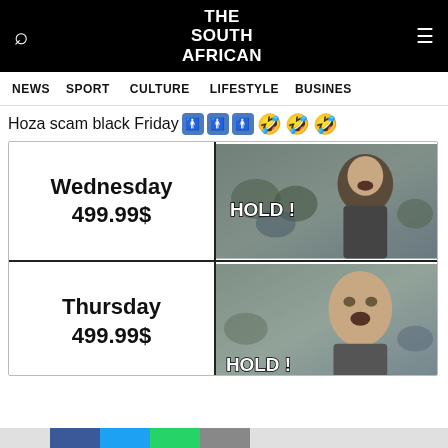THE SOUTH AFRICAN
NEWS  SPORT  CULTURE  LIFESTYLE  BUSINES
Hoza scam black Friday 🤣🤣🤣
[Figure (photo): Meme image split into 4 quadrants: top-left shows 'Wednesday 499.99$' in bold text on white background; top-right shows a warrior/Spartan figure shouting 'HOLD!' from a movie scene; bottom-left shows 'Thursday 499.99$' in bold text on white background; bottom-right shows the same warrior figure shouting 'HOLD!' from a closer angle.]
Next article